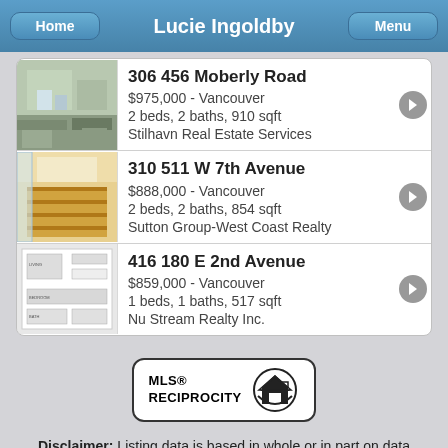Lucie Ingoldby
306 456 Moberly Road
$975,000 - Vancouver
2 beds, 2 baths, 910 sqft
Stilhavn Real Estate Services
310 511 W 7th Avenue
$888,000 - Vancouver
2 beds, 2 baths, 854 sqft
Sutton Group-West Coast Realty
416 180 E 2nd Avenue
$859,000 - Vancouver
1 beds, 1 baths, 517 sqft
Nu Stream Realty Inc.
[Figure (logo): MLS Reciprocity logo — circular house icon with MLS® RECIPROCITY text]
Disclaimer: Listing data is based in whole or in part on data generated by the Real Estate Board of Greater Vancouver and Fraser Valley Real Estate Board which assumes no responsibility for its accuracy.